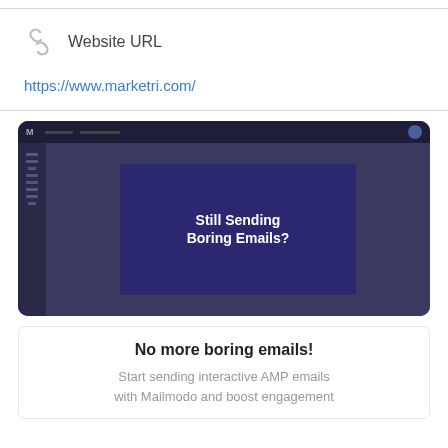Website URL
https://www.marketri.com/
[Figure (screenshot): Screenshot of a browser/email editor showing a dark purple interface with a card displaying text 'Still Sending Boring Emails?']
No more boring emails!
Start sending interactive AMP emails with Mailmodo and boost engagement